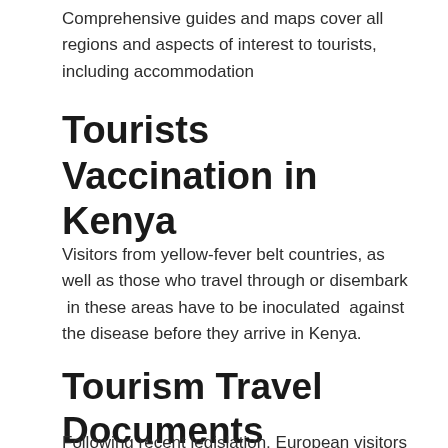Comprehensive guides and maps cover all regions and aspects of interest to tourists, including accommodation
Tourists Vaccination in Kenya
Visitors from yellow-fever belt countries, as well as those who travel through or disembark  in these areas have to be inoculated  against the disease before they arrive in Kenya.
Tourism Travel Documents in Kenya
Following recent legislation, European visitors do not